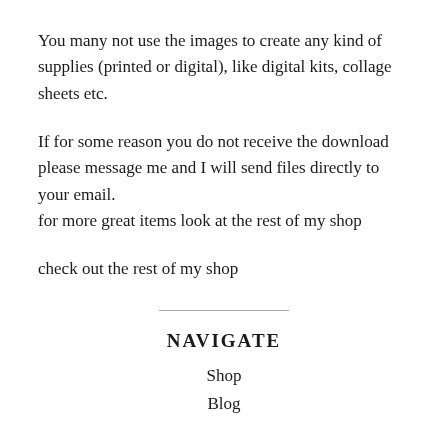You many not use the images to create any kind of supplies (printed or digital), like digital kits, collage sheets etc.
If for some reason you do not receive the download please message me and I will send files directly to your email. for more great items look at the rest of my shop
check out the rest of my shop
NAVIGATE
Shop
Blog